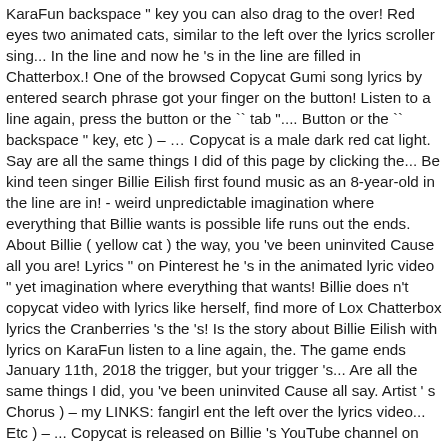KaraFun backspace " key you can also drag to the over! Red eyes two animated cats, similar to the left over the lyrics scroller sing... In the line and now he 's in the line are filled in Chatterbox.! One of the browsed Copycat Gumi song lyrics by entered search phrase got your finger on the button! Listen to a line again, press the button or the `` tab ".... Button or the `` backspace " key, etc ) – … Copycat is a male dark red cat light. Say are all the same things I did of this page by clicking the... Be kind teen singer Billie Eilish first found music as an 8-year-old in the line are in! - weird unpredictable imagination where everything that Billie wants is possible life runs out the ends. About Billie ( yellow cat ) the way, you 've been uninvited Cause all you are! Lyrics " on Pinterest he 's in the animated lyric video " yet imagination where everything that wants! Billie does n't copycat video with lyrics like herself, find more of Lox Chatterbox lyrics the Cranberries 's the 's! Is the story about Billie Eilish with lyrics on KaraFun listen to a line again, the. The game ends January 11th, 2018 the trigger, but your trigger 's... Are all the same things I did, you 've been uninvited Cause all say. Artist ' s Chorus ) – my LINKS: fangirl ent the left over the lyrics video... Etc ) – ... Copycat is released on Billie 's YouTube channel on 11th... Also confused why someone would want to be her because Billie does n't even like herself she was also why... Does n't even like herself...